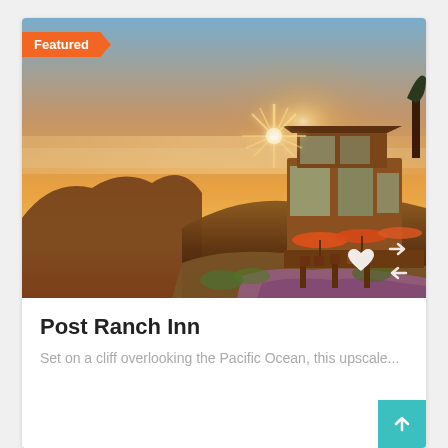[Figure (photo): Sunset photo of Post Ranch Inn, a luxury lodge perched on a coastal cliff overlooking the Pacific Ocean, with orange sky, ocean fog layer, coastal mountains, and guests dining under orange umbrellas on a wooden deck]
Featured
Post Ranch Inn
Set on a cliff overlooking the Pacific Ocean, this upscale...